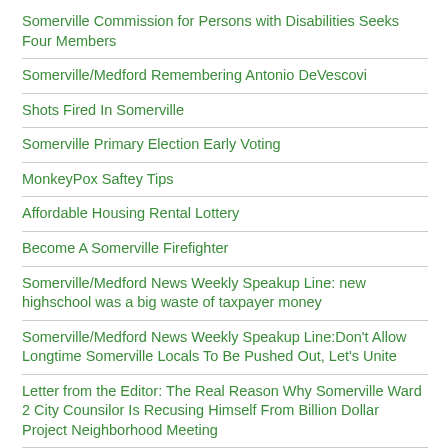Somerville Commission for Persons with Disabilities Seeks Four Members
Somerville/Medford Remembering Antonio DeVescovi
Shots Fired In Somerville
Somerville Primary Election Early Voting
MonkeyPox Saftey Tips
Affordable Housing Rental Lottery
Become A Somerville Firefighter
Somerville/Medford News Weekly Speakup Line: new highschool was a big waste of taxpayer money
Somerville/Medford News Weekly Speakup Line:Don't Allow Longtime Somerville Locals To Be Pushed Out, Let's Unite
Letter from the Editor: The Real Reason Why Somerville Ward 2 City Counsilor Is Recusing Himself From Billion Dollar Project Neighborhood Meeting